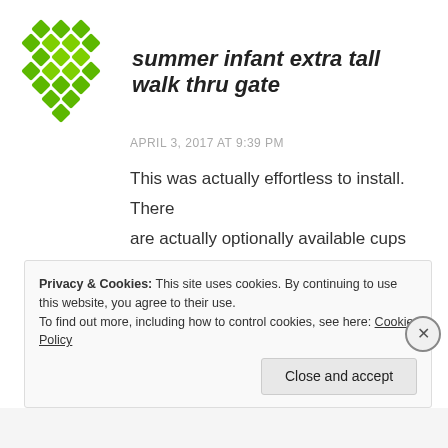[Figure (logo): Green diamond/cross pattern logo for 'summer infant extra tall walk thru gate']
summer infant extra tall walk thru gate
APRIL 3, 2017 AT 9:39 PM
This was actually effortless to install. There are actually optionally available cups that may be screwed into the wall/door framework however I really did not utilize these.
★ Like
Privacy & Cookies: This site uses cookies. By continuing to use this website, you agree to their use.
To find out more, including how to control cookies, see here: Cookie Policy
Close and accept